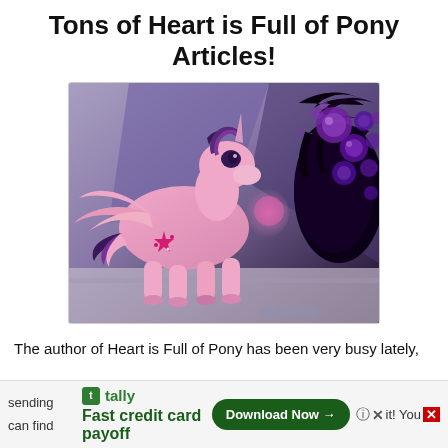Tons of Heart is Full of Pony Articles!
[Figure (illustration): Animated My Little Pony character (pink alicorn, Twilight Sparkle) in action pose facing dark shadowy creature with purple bubbles/orbs on right side, dark fantasy battle scene]
The author of Heart is Full of Pony has been very busy lately,
[Figure (infographic): Advertisement banner: Tally app logo, text 'Fast credit card payoff', green 'Download Now' button with arrow, close controls showing question mark circle, X, 'it! You' text, and red X button]